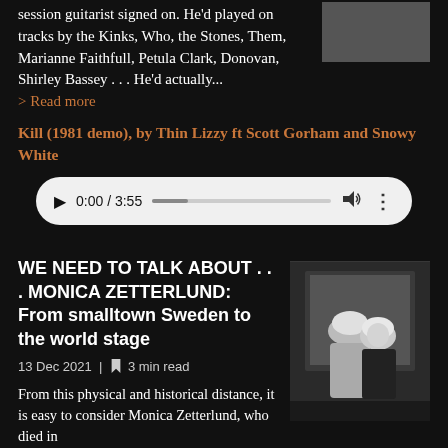session guitarist signed on. He'd played on tracks by the Kinks, Who, the Stones, Them, Marianne Faithfull, Petula Clark, Donovan, Shirley Bassey . . . He'd actually...
> Read more
Kill (1981 demo), by Thin Lizzy ft Scott Gorham and Snowy White
[Figure (other): Audio player widget showing 0:00 / 3:55 with play button, progress bar, volume and more icons on white/light gray rounded rectangle background]
WE NEED TO TALK ABOUT . . . MONICA ZETTERLUND: From smalltown Sweden to the world stage
13 Dec 2021 | 3 min read
From this physical and historical distance, it is easy to consider Monica Zetterlund, who died in
[Figure (photo): Black and white photo of Monica Zetterlund, a woman with blonde hair looking to the side in an elegant setting]